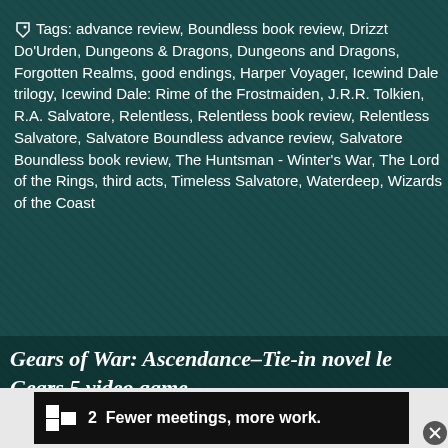Tags: advance review, Boundless book review, Drizzt Do'Urden, Dungeons & Dragons, Dungeons and Dragons, Forgotten Realms, good endings, Harper Voyager, Icewind Dale trilogy, Icewind Dale: Rime of the Frostmaiden, J.R.R. Tolkien, R.A. Salvatore, Relentless, Relentless book review, Relentless Salvatore, Salvatore Boundless advance review, Salvatore Boundless book review, The Huntsman - Winter's War, The Lord of the Rings, third acts, Timeless Salvatore, Waterdeep, Wizards of the Coast
Gears of War: Ascendance–Tie-in novel le Gears 5 video game
Filed under: Comics & Books, Sci-Fi Café — Leave a comment
[Figure (screenshot): Advertisement bar: dark background with a logo icon and text 'Fewer meetings, more work.' with a close button]